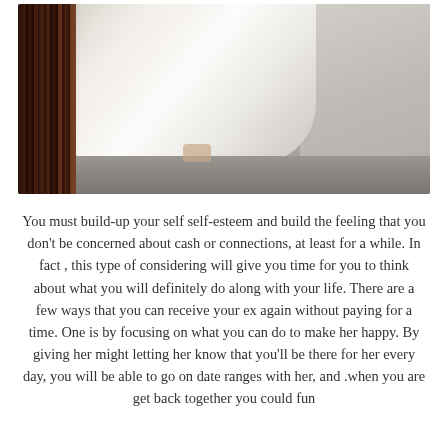[Figure (photo): A wedding photo showing the lower portion of a person wearing a long white/light gray wedding dress standing on a gravel path, with a dark wooden fence on the left side. The dress trails to the ground. Another person in light clothing is partially visible on the right.]
You must build-up your self self-esteem and build the feeling that you don't be concerned about cash or connections, at least for a while. In fact , this type of considering will give you time for you to think about what you will definitely do along with your life. There are a few ways that you can receive your ex again without paying for a time. One is by focusing on what you can do to make her happy. By giving her might letting her know that you'll be there for her every day, you will be able to go on date ranges with her, and .when you are get back together you could fun